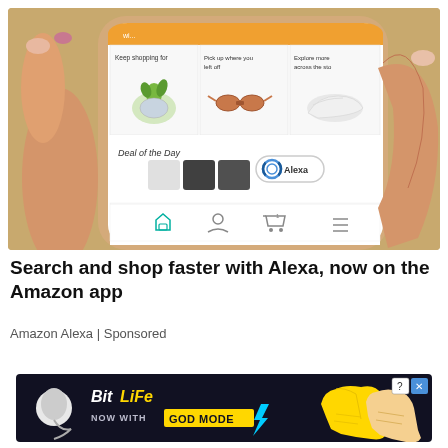[Figure (screenshot): A hand holding a smartphone displaying the Amazon shopping app with product recommendation tiles (plant, sunglasses, shoe), Deal of the Day section with product images, and an Alexa voice button visible on screen.]
Search and shop faster with Alexa, now on the Amazon app
Amazon Alexa | Sponsored
[Figure (infographic): BitLife mobile game advertisement banner with text 'NOW WITH GOD MODE' and stylized hand/lightning graphics on dark background.]